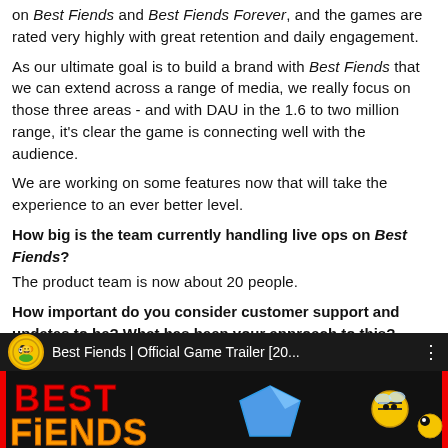on Best Fiends and Best Fiends Forever, and the games are rated very highly with great retention and daily engagement.
As our ultimate goal is to build a brand with Best Fiends that we can extend across a range of media, we really focus on those three areas - and with DAU in the 1.6 to two million range, it's clear the game is connecting well with the audience.
We are working on some features now that will take the experience to an ever better level.
How big is the team currently handling live ops on Best Fiends?
The product team is now about 20 people.
How important do you consider customer support and updates to be? What has been your approach to this?
Live operations and customer support are super important. The days of finishing a game and moving on are pretty much in the past.
Nowadays, you really need to keep building up and improving all the time. We're not working on products, we are working on services that need to be dynamic and live.
[Figure (screenshot): YouTube video thumbnail for Best Fiends Official Game Trailer, showing the Best Fiends logo in stylized red/orange text on a dark background, with cartoon bee and bug characters.]